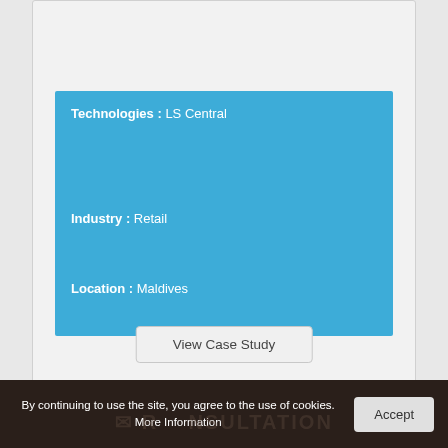Technologies : LS Central
Industry : Retail
Location : Maldives
View Case Study
Microsoft
By continuing to use the site, you agree to the use of cookies. More Information
Accept